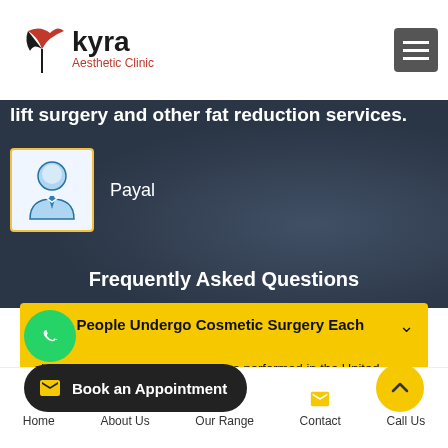[Figure (logo): Kyra Aesthetic Clinic logo with bird icon and red/black text]
lift surgery and other fat reduction services.
[Figure (illustration): Generic male avatar icon with blue shirt and tie]
Payal
Frequently Asked Questions
Many People Undergo Cosmetic Surgery Each Year?
al and nonsurgical procedures were performed in the United Stat
Book an Appointment
Home   About Us   Our Range   Contact   Call Us